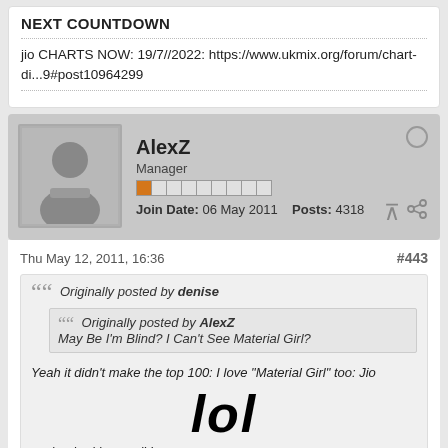NEXT COUNTDOWN
jio CHARTS NOW: 19/7//2022: https://www.ukmix.org/forum/chart-di...9#post10964299
AlexZ
Manager
Join Date: 06 May 2011   Posts: 4318
Thu May 12, 2011, 16:36
#443
Originally posted by denise
  Originally posted by AlexZ
  May Be I'm Blind? I Can't See Material Girl?
Yeah it didn't make the top 100: I love "Material Girl" too: Jio
lol
such a bad boy :evil:!